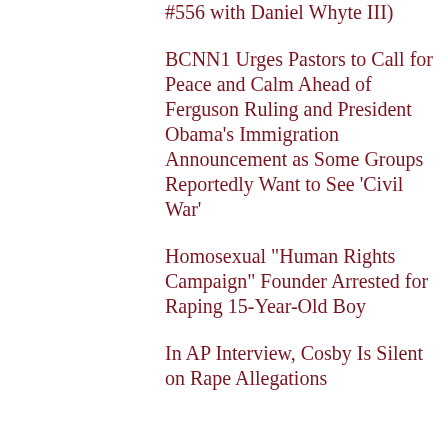#556 with Daniel Whyte III)
BCNN1 Urges Pastors to Call for Peace and Calm Ahead of Ferguson Ruling and President Obama’s Immigration Announcement as Some Groups Reportedly Want to See ‘Civil War’
Homosexual “Human Rights Campaign” Founder Arrested for Raping 15-Year-Old Boy
In AP Interview, Cosby Is Silent on Rape Allegations